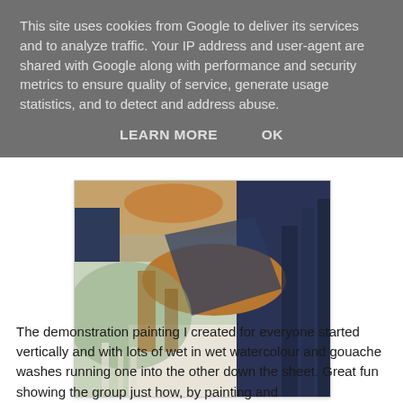This site uses cookies from Google to deliver its services and to analyze traffic. Your IP address and user-agent are shared with Google along with performance and security metrics to ensure quality of service, generate usage statistics, and to detect and address abuse.
LEARN MORE   OK
[Figure (photo): A landscape painting in watercolour and gouache with expressive brushstrokes showing rolling hills, dark blue and navy tones on the right side, orange-brown earthy tones in the middle and top-right, and pale green and white wet-on-wet washes in the lower left.]
The demonstration painting I created for everyone started vertically and with lots of wet in wet watercolour and gouache washes running one into the other down the sheet. Great fun showing the group just how, by painting and